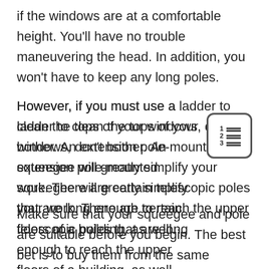if the windows are at a comfortable height. You'll have no trouble maneuvering the head. In addition, you won't have to keep any long poles.
However, if you must use a ladder to clean the tops of your windows, don't bother. An extension pole-mounted squeegee will greatly simplify your work. There are certain telescopic poles that are long enough to reach the upper floors of a building, as well.
[Figure (other): Small icon showing a numbered list (1, 2, 3) with horizontal lines, inside a rounded rectangle border]
Make sure that your squeegee and pole are suitable before you begin. The best bet is to buy them from the same manufacturer.